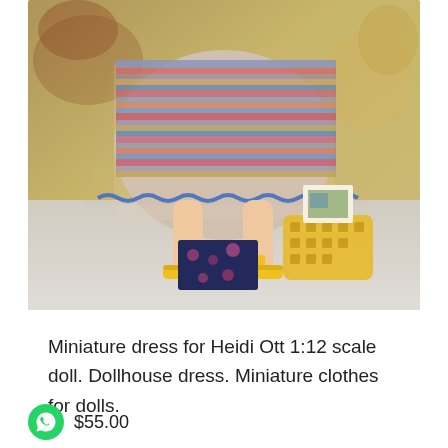[Figure (photo): Close-up photo of a miniature doll wearing a colorful striped knit dress with blue lace trim, yellow high-heeled sandals, standing next to a yellow wicker basket and patterned box accessories, against a rustic painted background.]
Miniature dress for Heidi Ott 1:12 scale doll. Dollhouse dress. Miniature clothes for dolls.
$55.00